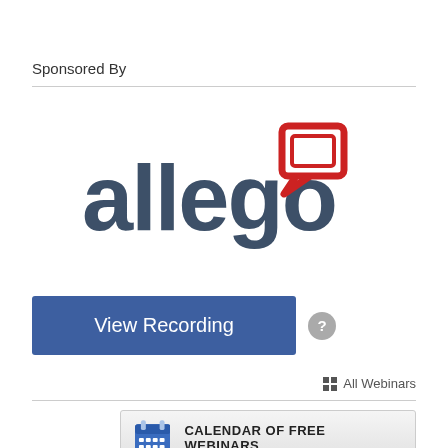Sponsored By
[Figure (logo): Allego logo: dark slate-gray lowercase text 'allego' with a red speech bubble icon above the 'o']
View Recording
All Webinars
[Figure (infographic): Calendar of Free Webinars banner with blue calendar icon and bold uppercase text 'CALENDAR OF FREE WEBINARS']